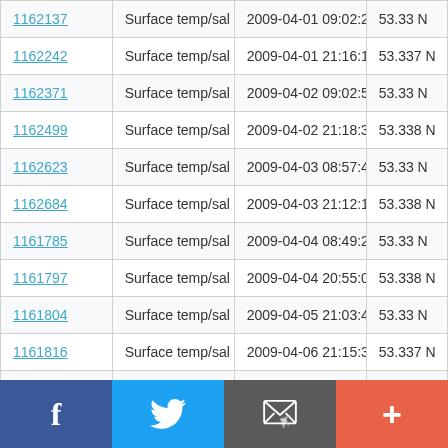| ID | Type | Datetime | Lat |
| --- | --- | --- | --- |
| 1162137 | Surface temp/sal | 2009-04-01 09:02:21 | 53.33 N |
| 1162242 | Surface temp/sal | 2009-04-01 21:16:11 | 53.337 N |
| 1162371 | Surface temp/sal | 2009-04-02 09:02:51 | 53.33 N |
| 1162499 | Surface temp/sal | 2009-04-02 21:18:31 | 53.338 N |
| 1162623 | Surface temp/sal | 2009-04-03 08:57:43 | 53.33 N |
| 1162684 | Surface temp/sal | 2009-04-03 21:12:13 | 53.338 N |
| 1161785 | Surface temp/sal | 2009-04-04 08:49:22 | 53.33 N |
| 1161797 | Surface temp/sal | 2009-04-04 20:55:03 | 53.338 N |
| 1161804 | Surface temp/sal | 2009-04-05 21:03:43 | 53.33 N |
| 1161816 | Surface temp/sal | 2009-04-06 21:15:34 | 53.337 N |